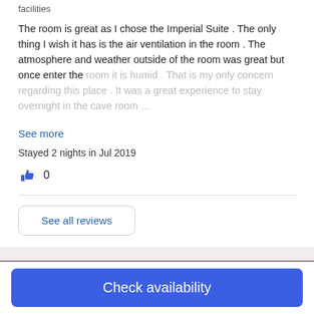facilities
The room is great as I chose the Imperial Suite . The only thing I wish it has is the air ventilation in the room . The atmosphere and weather outside of the room was great but once enter the room it is humid . That is my only concern regarding this place . It was a great experience to stay overnight in the cave room …
See more
Stayed 2 nights in Jul 2019
0
See all reviews
Expedia's Latest Trends
Check availability